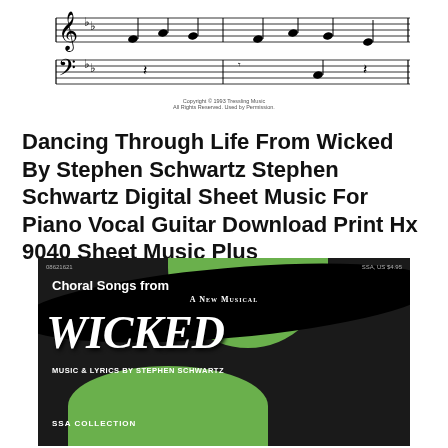[Figure (illustration): Sheet music notation snippet showing treble and bass clefs with notes]
Copyright © 1993 Tressling Music
All Rights Reserved. Used by Permission.
Dancing Through Life From Wicked By Stephen Schwartz Stephen Schwartz Digital Sheet Music For Piano Vocal Guitar Download Print Hx 9040 Sheet Music Plus
[Figure (photo): Cover of 'Choral Songs from Wicked: A New Musical' - SSA Collection. Music & Lyrics by Stephen Schwartz. Black and green cover with witch imagery. Item 08621621, SSA, US $4.95]